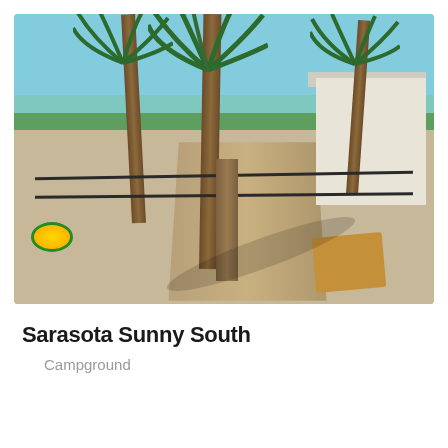[Figure (photo): Beach scene with palm trees, sandy ground with rope barriers and a wooden post, a boardwalk leading to the ocean in the background, a white lattice building on the right, a yellow frisbee on the left, and a cardboard mat on the ground. Clear blue sky and turquoise ocean visible.]
Sarasota Sunny South
Campground